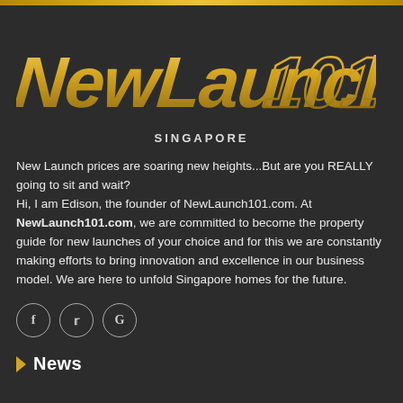[Figure (logo): NewLaunch101 logo in gold italic stylized text on dark background]
SINGAPORE
New Launch prices are soaring new heights...But are you REALLY going to sit and wait?
Hi, I am Edison, the founder of NewLaunch101.com. At NewLaunch101.com, we are committed to become the property guide for new launches of your choice and for this we are constantly making efforts to bring innovation and excellence in our business model. We are here to unfold Singapore homes for the future.
[Figure (other): Social media icons: Facebook (f), Twitter (bird), Google (G) in circular outlines]
News